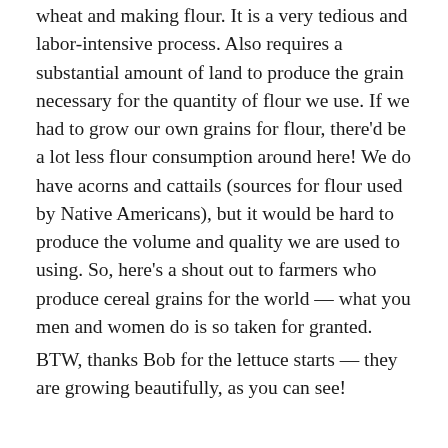wheat and making flour. It is a very tedious and labor-intensive process. Also requires a substantial amount of land to produce the grain necessary for the quantity of flour we use. If we had to grow our own grains for flour, there'd be a lot less flour consumption around here! We do have acorns and cattails (sources for flour used by Native Americans), but it would be hard to produce the volume and quality we are used to using. So, here's a shout out to farmers who produce cereal grains for the world — what you men and women do is so taken for granted.
BTW, thanks Bob for the lettuce starts — they are growing beautifully, as you can see!